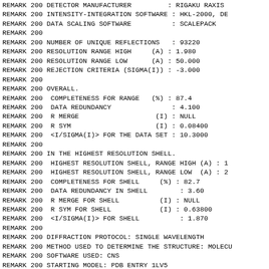REMARK 200 DETECTOR MANUFACTURER         : RIGAKU RAXIS
REMARK 200 INTENSITY-INTEGRATION SOFTWARE : HKL-2000, DE
REMARK 200 DATA SCALING SOFTWARE          : SCALEPACK
REMARK 200
REMARK 200 NUMBER OF UNIQUE REFLECTIONS   : 93220
REMARK 200 RESOLUTION RANGE HIGH     (A) : 1.980
REMARK 200 RESOLUTION RANGE LOW      (A) : 50.000
REMARK 200 REJECTION CRITERIA (SIGMA(I)) : -3.000
REMARK 200
REMARK 200 OVERALL.
REMARK 200  COMPLETENESS FOR RANGE   (%) : 87.4
REMARK 200  DATA REDUNDANCY               : 4.100
REMARK 200  R MERGE                   (I) : NULL
REMARK 200  R SYM                     (I) : 0.08400
REMARK 200  <I/SIGMA(I)> FOR THE DATA SET : 10.3000
REMARK 200
REMARK 200 IN THE HIGHEST RESOLUTION SHELL.
REMARK 200  HIGHEST RESOLUTION SHELL, RANGE HIGH (A) : 1
REMARK 200  HIGHEST RESOLUTION SHELL, RANGE LOW  (A) : 2
REMARK 200  COMPLETENESS FOR SHELL     (%) : 82.7
REMARK 200  DATA REDUNDANCY IN SHELL        : 3.60
REMARK 200  R MERGE FOR SHELL          (I) : NULL
REMARK 200  R SYM FOR SHELL            (I) : 0.63800
REMARK 200  <I/SIGMA(I)> FOR SHELL          : 1.870
REMARK 200
REMARK 200 DIFFRACTION PROTOCOL: SINGLE WAVELENGTH
REMARK 200 METHOD USED TO DETERMINE THE STRUCTURE: MOLECU
REMARK 200 SOFTWARE USED: CNS
REMARK 200 STARTING MODEL: PDB ENTRY 1LV5
REMARK 200